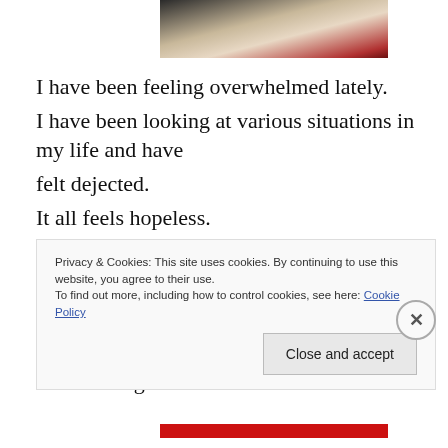[Figure (photo): Partial photograph at top center of page showing dark and light tones with reddish hues at bottom of image]
I have been feeling overwhelmed lately.
I have been looking at various situations in my life and have
felt dejected.
It all feels hopeless.
I thought I was strong enough for the battle but
I was wrong.
I thought I could handle the pressure but
I was wrong.
Privacy & Cookies: This site uses cookies. By continuing to use this website, you agree to their use.
To find out more, including how to control cookies, see here: Cookie Policy
Close and accept